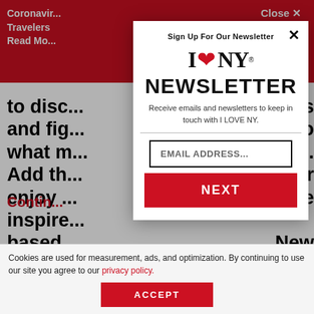[Figure (screenshot): Screenshot of I LOVE NY website with a newsletter signup modal popup overlaid on the page content. The background shows a red header bar with coronavirus traveler information and white body text. The modal contains the I LOVE NY logo, a NEWSLETTER heading, description text, an email input field, and a NEXT button. At the bottom is a cookie consent bar with an ACCEPT button.]
Coronavirus Travelers Read Mo... Close ✕
to disc... ins and fig... s into what m... lace. Add th... t or enjoy... ven be inspire... based... New York S...
Sign Up For Our Newsletter
I ❤ NY NEWSLETTER
Receive emails and newsletters to keep in touch with I LOVE NY.
EMAIL ADDRESS...
NEXT
Contin...
Cookies are used for measurement, ads, and optimization. By continuing to use our site you agree to our privacy policy.
ACCEPT